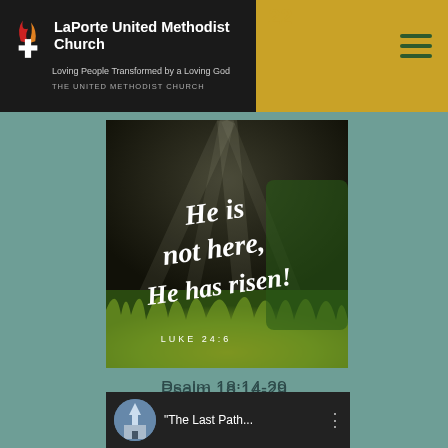LaPorte United Methodist Church — Loving People Transformed by a Loving God — THE UNITED METHODIST CHURCH
[Figure (photo): Dark atmospheric photo with grassy foreground and overlaid white script text reading: He is not here, He has risen! — LUKE 24:6]
Psalm 18:14-29
Mark 16:1-8
Bible App Event
[Figure (screenshot): Video thumbnail with church steeple icon and title 'The Last Path...' with three-dot menu icon on dark background]